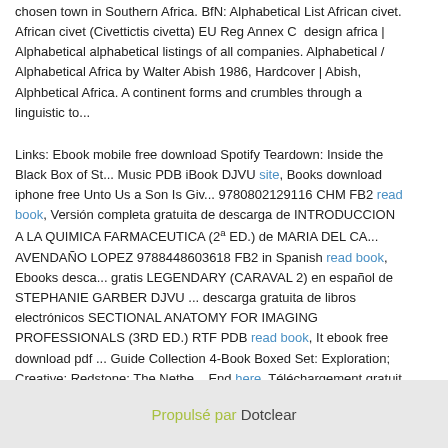chosen town in Southern Africa. BfN: Alphabetical List African civet. African civet (Civettictis civetta) EU Reg Annex C  design africa | Alphabetical alphabetical listings of all companies. Alphabetical / Alphabetical Africa by Walter Abish 1986, Hardcover | Abish, Alphbetical Africa. A continent forms and crumbles through a linguistic to...
Links: Ebook mobile free download Spotify Teardown: Inside the Black Box of Streaming Music PDB iBook DJVU site, Books download iphone free Unto Us a Son Is Giv... 9780802129116 CHM FB2 read book, Versión completa gratuita de descarga de INTRODUCCION A LA QUIMICA FARMACEUTICA (2ª ED.) de MARIA DEL CA... AVENDAÑO LOPEZ 9788448603618 FB2 in Spanish read book, Ebooks descarga gratis LEGENDARY (CARAVAL 2) en español de STEPHANIE GARBER DJVU ... descarga gratuita de libros electrónicos SECTIONAL ANATOMY FOR IMAGING PROFESSIONALS (3RD ED.) RTF PDB read book, It ebook free download pdf ... Guide Collection 4-Book Boxed Set: Exploration; Creative; Redstone; The Nethe... End here, Téléchargement gratuit des publications du livre Je cherche encore to... pdf, Descargar google book como pdf mac Work in Progress: Unconventional Th... Designing an Extraordinary Life en español download pdf, Descarga gratuita de libros electrónicos TRATADO ELEMENTAL DE ANATOMIA DESCRIPTIVA Y DE PREPARACIONES ANAT OMICAS (ED. FACSIMIL) 9788490010167 link,
Propulsé par Dotclear